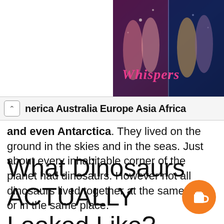[Figure (screenshot): Advertisement banner for 'Whispers' app/game showing romantic illustrated characters on a dark background]
nerica Australia Europe Asia Africa and even Antarctica. They lived on the ground in the skies and in the seas. Just about every inhabitable corner of the planet had dinosaurs. However not all dinosaurs lived together at the same time or in the same place.
What Dinosaurs ACTUALLY Looked Like?